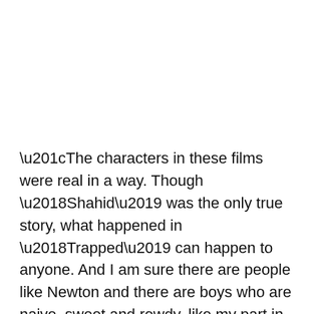“The characters in these films were real in a way. Though ‘Shahid’ was the only true story, what happened in ‘Trapped’ can happen to anyone. And I am sure there are people like Newton and there are boys who are naive, sweet and rowdy, like my part in ‘Bareilly…’. The humanness is something I loved,” the actor told PTI in an interview.
“Shahid”, a 2013 biopic directed by Hansal Mehta, was based on the life of lawyer and human rights activist